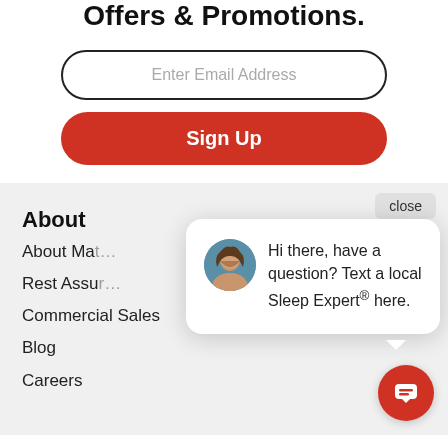Offers & Promotions.
Enter Email Address
Sign Up
About
About Ma…
Rest Assu…
Commercial Sales
Blog
Careers
close
Hi there, have a question? Text a local Sleep Expert® here.